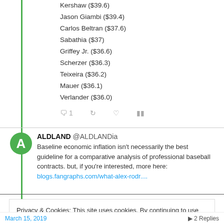Kershaw ($39.6)
Jason Giambi ($39.4)
Carlos Beltran ($37.6)
Sabathia ($37)
Griffey Jr. ($36.6)
Scherzer ($36.3)
Teixeira ($36.2)
Mauer ($36.1)
Verlander ($36.0)
ALDLAND @ALDLANDia
Baseline economic inflation isn't necessarily the best guideline for a comparative analysis of professional baseball contracts. but, if you're interested, more here: blogs.fangraphs.com/what-alex-rodr....
Privacy & Cookies: This site uses cookies. By continuing to use this website, you agree to their use.
To find out more, including how to control cookies, see here: Cookie Policy
March 15, 2019 · 2 Replies